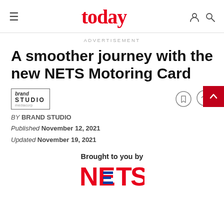today
ADVERTISEMENT
A smoother journey with the new NETS Motoring Card
[Figure (logo): Brand Studio Mediacorp logo]
BY BRAND STUDIO
Published November 12, 2021
Updated November 19, 2021
Brought to you by
[Figure (logo): NETS logo in red and blue]